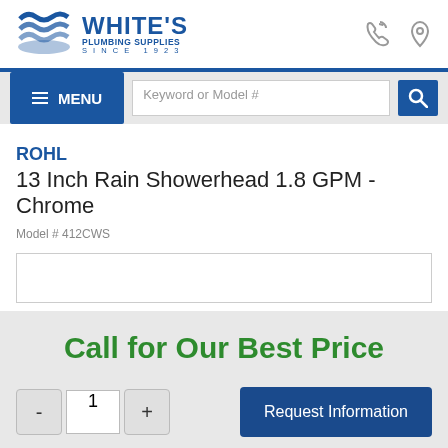[Figure (logo): White's Plumbing Supplies logo with blue wave icon, established since 1923]
MENU
Keyword or Model #
ROHL
13 Inch Rain Showerhead 1.8 GPM - Chrome
Model # 412CWS
Call for Our Best Price
Request Information